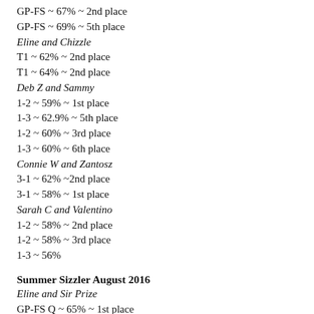GP-FS ~ 67% ~ 2nd place
GP-FS ~ 69% ~ 5th place
Eline and Chizzle
T1 ~ 62% ~ 2nd place
T1 ~ 64% ~ 2nd place
Deb Z and Sammy
1-2 ~ 59% ~ 1st place
1-3 ~ 62.9% ~ 5th place
1-2 ~ 60% ~ 3rd place
1-3 ~ 60% ~ 6th place
Connie W and Zantosz
3-1 ~ 62% ~2nd place
3-1 ~ 58% ~ 1st place
Sarah C and Valentino
1-2 ~ 58% ~ 2nd place
1-2 ~ 58% ~ 3rd place
1-3 ~ 56%
Summer Sizzler August 2016
Eline and Sir Prize
GP-FS Q ~ 65% ~ 1st place
GP FS ~ 65.5% ~ 2nd place
Eline and Verdict